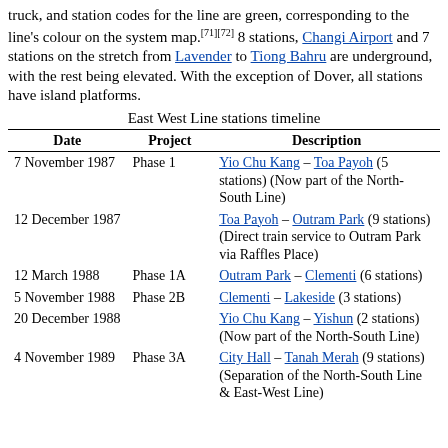truck, and station codes for the line are green, corresponding to the line's colour on the system map.[71][72] 8 stations, Changi Airport and 7 stations on the stretch from Lavender to Tiong Bahru are underground, with the rest being elevated. With the exception of Dover, all stations have island platforms.
East West Line stations timeline
| Date | Project | Description |
| --- | --- | --- |
| 7 November 1987 | Phase 1 | Yio Chu Kang – Toa Payoh (5 stations) (Now part of the North-South Line) |
| 12 December 1987 | Phase 1 | Toa Payoh – Outram Park (9 stations) (Direct train service to Outram Park via Raffles Place) |
| 12 March 1988 | Phase 1A | Outram Park – Clementi (6 stations) |
| 5 November 1988 | Phase 2B | Clementi – Lakeside (3 stations) |
| 20 December 1988 | Phase 2B | Yio Chu Kang – Yishun (2 stations) (Now part of the North-South Line) |
| 4 November 1989 | Phase 3A | City Hall – Tanah Merah (9 stations) (Separation of the North-South Line & East-West Line) |